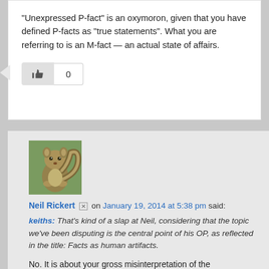“Unexpressed P-fact” is an oxymoron, given that you have defined P-facts as “true statements”. What you are referring to is an M-fact — an actual state of affairs.
[Figure (other): Like/thumbs-up button with count 0]
[Figure (photo): Avatar image of a squirrel]
Neil Rickert [edit icon] on January 19, 2014 at 5:38 pm said:
keiths: That’s kind of a slap at Neil, considering that the topic we’ve been disputing is the central point of his OP, as reflected in the title: Facts as human artifacts.
No. It is about your gross misinterpretation of the